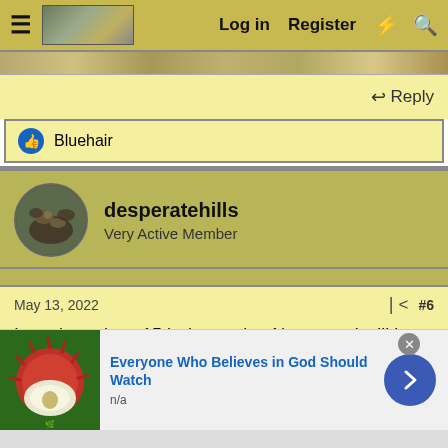Log in   Register
Reply
Bluehair
desperatehills
Very Active Member
May 13, 2022   #6
I purchased my 15th deer point. Next year I will be a resident. I was amazed at how many units I can now draw that were only a dream as a NR. Several options north of the ditch. I will need to
Everyone Who Believes in God Should Watch
n/a